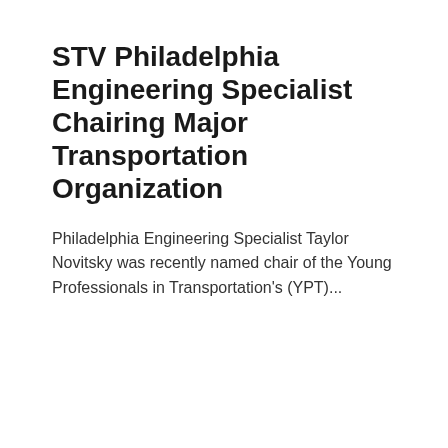STV Philadelphia Engineering Specialist Chairing Major Transportation Organization
Philadelphia Engineering Specialist Taylor Novitsky was recently named chair of the Young Professionals in Transportation's (YPT)...